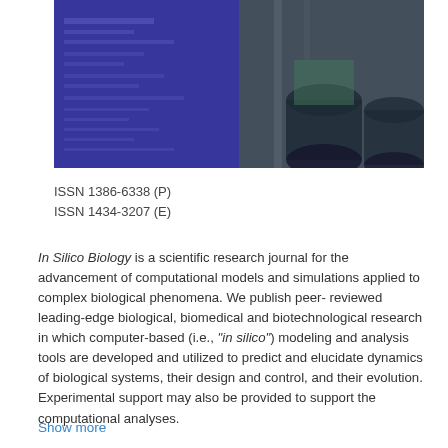[Figure (photo): Journal cover image showing a blue-tinted scientific diagram on the left half and laboratory equipment (large cylindrical vessels) on the right half, with a green/teal tint.]
ISSN 1386-6338 (P)
ISSN 1434-3207 (E)
In Silico Biology is a scientific research journal for the advancement of computational models and simulations applied to complex biological phenomena. We publish peer-reviewed leading-edge biological, biomedical and biotechnological research in which computer-based (i.e., "in silico") modeling and analysis tools are developed and utilized to predict and elucidate dynamics of biological systems, their design and control, and their evolution. Experimental support may also be provided to support the computational analyses.
Show more